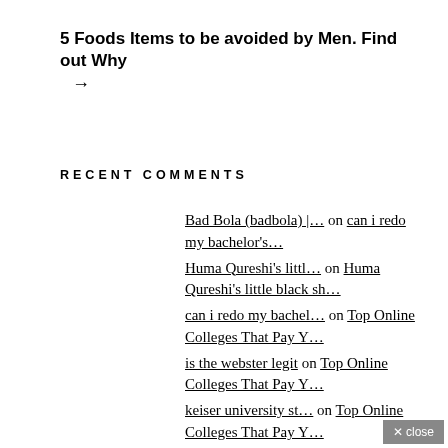5 Foods Items to be avoided by Men. Find out Why →
RECENT COMMENTS
Bad Bola (badbola) |… on can i redo my bachelor's…
Huma Qureshi's littl… on Huma Qureshi's little black sh…
can i redo my bachel… on Top Online Colleges That Pay Y…
is the webster legit on Top Online Colleges That Pay Y…
keiser university st… on Top Online Colleges That Pay Y…